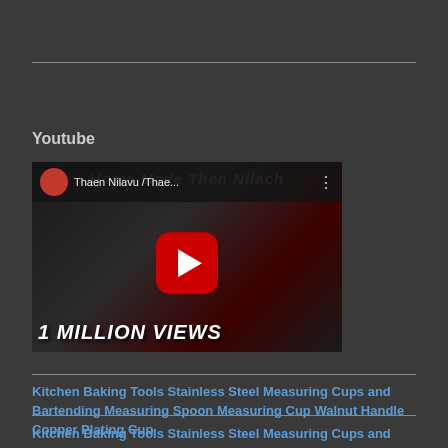Youtube
[Figure (screenshot): YouTube video thumbnail for 'Thaen Nilavu /Thae...' showing a bowl of red berries and text '1 MILLION VIEWS' with play button]
Kitchen Baking Tools Stainless Steel Measuring Cups and Bartending Measuring Spoon Measuring Cup Walnut Handle Copper Plating Cup
Kitchen Baking Tools Stainless Steel Measuring Cups and Bartending Measuring Spoon Measuring Cup Walnut Handle Copper Plating Cup